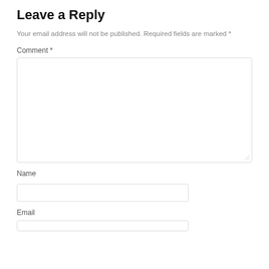Leave a Reply
Your email address will not be published. Required fields are marked *
Comment *
Name
Email